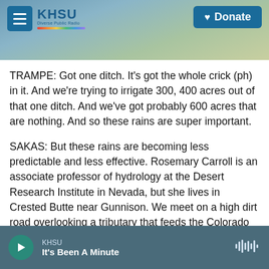KHSU — Donate
TRAMPE: Got one ditch. It's got the whole crick (ph) in it. And we're trying to irrigate 300, 400 acres out of that one ditch. And we've got probably 600 acres that are nothing. And so these rains are super important.
SAKAS: But these rains are becoming less predictable and less effective. Rosemary Carroll is an associate professor of hydrology at the Desert Research Institute in Nevada, but she lives in Crested Butte near Gunnison. We meet on a high dirt road overlooking a tributary that feeds the Colorado River. The two major reservoirs on this
KHSU — It's Been A Minute